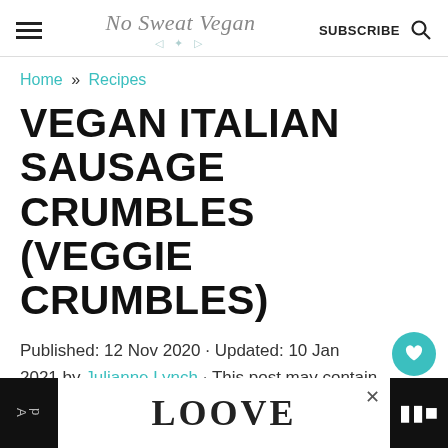No Sweat Vegan · SUBSCRIBE
Home » Recipes
VEGAN ITALIAN SAUSAGE CRUMBLES (VEGGIE CRUMBLES)
Published: 12 Nov 2020 · Updated: 10 Jan 2021 by Julianne Lynch · This post may contain affiliate links · As an Amazon A...p...
[Figure (other): Advertisement banner showing stylized LOOVE text in decorative lettering with a close button and additional content on right side]